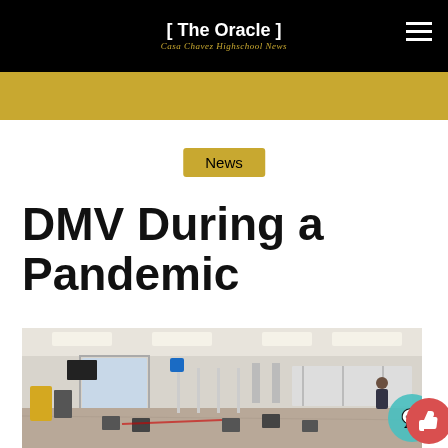[ The Oracle ] Cosa Chavez Highschool News
News
DMV During a Pandemic
[Figure (photo): Interior of a DMV office during the pandemic, showing socially distanced chairs arranged sparsely, service counters with barriers, and a mostly empty waiting area with fluorescent ceiling lights.]